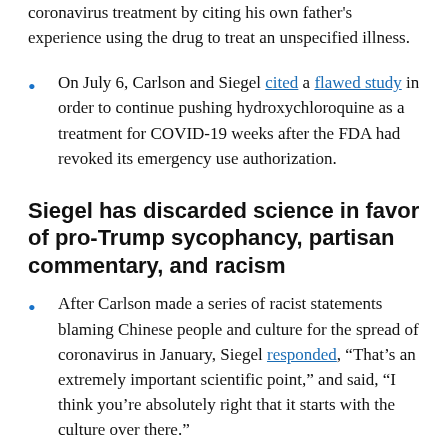coronavirus treatment by citing his own father's experience using the drug to treat an unspecified illness.
On July 6, Carlson and Siegel cited a flawed study in order to continue pushing hydroxychloroquine as a treatment for COVID-19 weeks after the FDA had revoked its emergency use authorization.
Siegel has discarded science in favor of pro-Trump sycophancy, partisan commentary, and racism
After Carlson made a series of racist statements blaming Chinese people and culture for the spread of coronavirus in January, Siegel responded, “That’s an extremely important scientific point,” and said, “I think you’re absolutely right that it starts with the culture over there.”